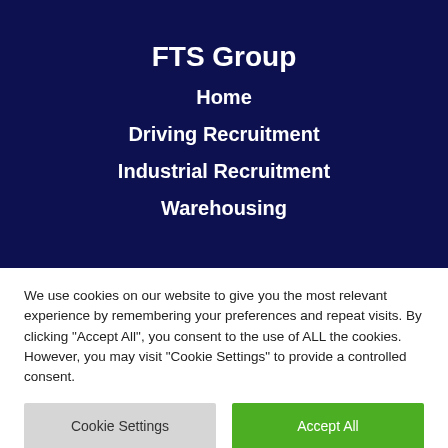[Figure (screenshot): Dark navy blue website header/navigation overlay showing FTS Group website menu with blurred background]
FTS Group
Home
Driving Recruitment
Industrial Recruitment
Warehousing
We use cookies on our website to give you the most relevant experience by remembering your preferences and repeat visits. By clicking "Accept All", you consent to the use of ALL the cookies. However, you may visit "Cookie Settings" to provide a controlled consent.
Cookie Settings
Accept All